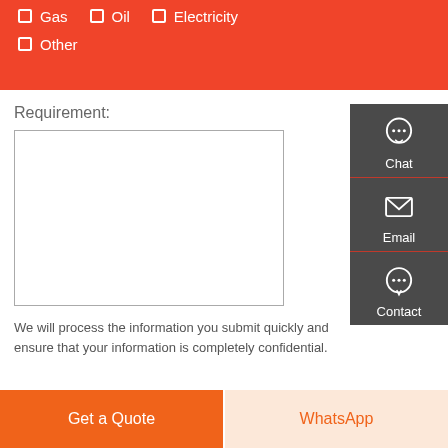Gas
Oil
Electricity
Other
Requirement:
[Figure (screenshot): A text area input box for entering requirements]
[Figure (infographic): Side panel with Chat, Email, and Contact icons on dark gray background]
We will process the information you submit quickly and ensure that your information is completely confidential.
Get a Quote
WhatsApp